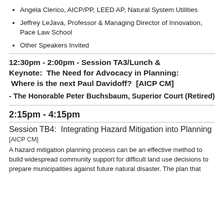Angela Clerico, AICP/PP, LEED AP, Natural System Utilities
Jeffrey LeJava, Professor & Managing Director of Innovation, Pace Law School
Other Speakers Invited
12:30pm - 2:00pm - Session TA3/Lunch & Keynote:  The Need for Advocacy in Planning:  Where is the next Paul Davidoff?  [AICP CM]
- The Honorable Peter Buchsbaum, Superior Court (Retired)
2:15pm - 4:15pm
Session TB4:  Integrating Hazard Mitigation into Planning
[AICP CM]
A hazard mitigation planning process can be an effective method to build widespread community support for difficult land use decisions to prepare municipalities against future natural disaster. The plan that